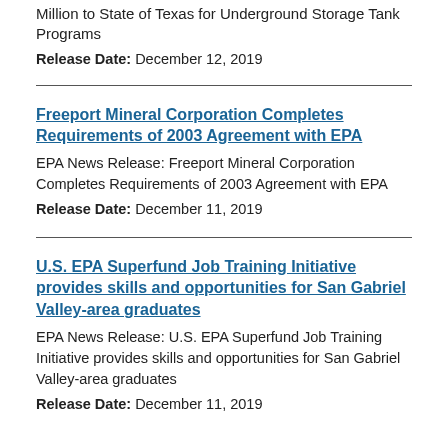Million to State of Texas for Underground Storage Tank Programs
Release Date: December 12, 2019
Freeport Mineral Corporation Completes Requirements of 2003 Agreement with EPA
EPA News Release: Freeport Mineral Corporation Completes Requirements of 2003 Agreement with EPA
Release Date: December 11, 2019
U.S. EPA Superfund Job Training Initiative provides skills and opportunities for San Gabriel Valley-area graduates
EPA News Release: U.S. EPA Superfund Job Training Initiative provides skills and opportunities for San Gabriel Valley-area graduates
Release Date: December 11, 2019